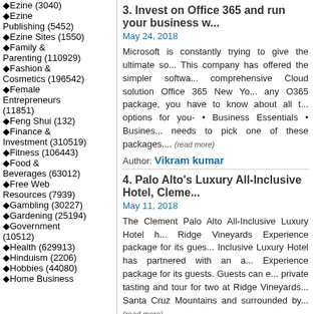Ezine (3040)
Ezine Publishing (5452)
Ezine Sites (1550)
Family & Parenting (110929)
Fashion & Cosmetics (196542)
Female Entrepreneurs (11851)
Feng Shui (132)
Finance & Investment (310519)
Fitness (106443)
Food & Beverages (63012)
Free Web Resources (7939)
Gambling (30227)
Gardening (25194)
Government (10512)
Health (629913)
Hinduism (2206)
Hobbies (44080)
Home Business
3. Invest on Office 365 and run your business w...
May 24, 2018
Microsoft is constantly trying to give the ultimate so... This company has offered the simpler softwa... comprehensive Cloud solution Office 365 New Yo... any O365 package, you have to know about all t... options for you- • Business Essentials • Busines... needs to pick one of these packages.... (read more)
Author: Vikram kumar
4. Palo Alto's Luxury All-Inclusive Hotel, Cleme...
May 11, 2018
The Clement Palo Alto All-Inclusive Luxury Hotel h... Ridge Vineyards Experience package for its gues... Inclusive Luxury Hotel has partnered with an a... Experience package for its guests. Guests can e... private tasting and tour for two at Ridge Vineyards... Santa Cruz Mountains and surrounded by... (read more)
Author: John Paul
5. Male Organ Odor and Underwear Choice
May 10, 2018
Even the most romantic scenario can be ruined wh...